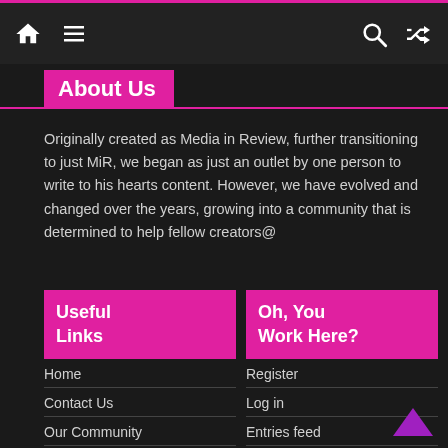Navigation bar with home, menu, search, and shuffle icons
About Us
Originally created as Media in Review, further transitioning to just MiR, we began as just an outlet by one person to write to his hearts content. However, we have evolved and changed over the years, growing into a community that is determined to help fellow creators@
Useful Links
Oh, You Work Here?
Home
Register
Contact Us
Log in
Our Community
Entries feed
Careers
Comments feed
Privacy Policy
WordPress.org